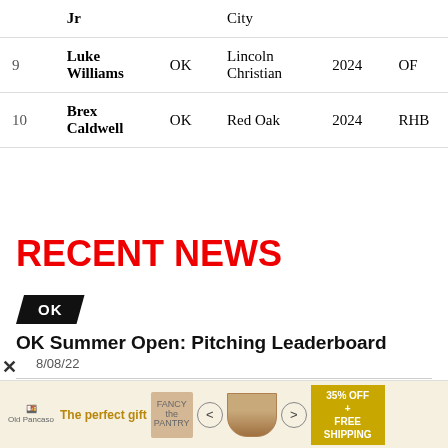| # | Name | State | School | Year | Pos |
| --- | --- | --- | --- | --- | --- |
|  | Jr |  | City |  |  |
| 9 | Luke Williams | OK | Lincoln Christian | 2024 | OF |
| 10 | Brex Caldwell | OK | Red Oak | 2024 | RHB |
RECENT NEWS
[Figure (other): Black badge/tag with text 'OK']
OK Summer Open: Pitching Leaderboard
8/08/22
[Figure (other): Black badge/tag with text 'OK']
OK Summer Open: Hitting Leaderboard
[Figure (other): Advertisement banner: The perfect gift, 35% OFF + FREE SHIPPING]